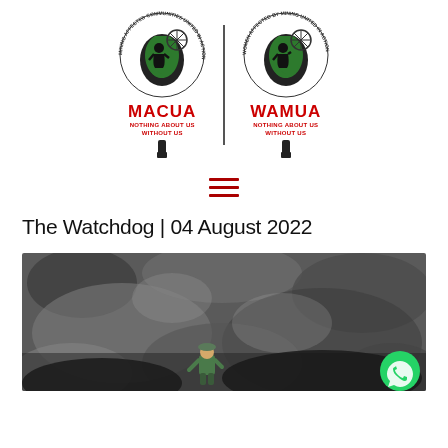[Figure (logo): MACUA and WAMUA logos side by side. Left: MACUA - Mining Affected Communities United in Action, with Africa map graphic and raised fist. Right: WAMUA - Women Affected by Mining United in Action, with Africa map graphic and raised fist. Both have tagline: NOTHING ABOUT US WITHOUT US. Separated by a vertical line.]
[Figure (other): Hamburger menu icon with three horizontal dark red lines]
The Watchdog | 04 August 2022
[Figure (photo): Black and white photograph showing a small figurine of a miner/worker in a green outfit, positioned among dark coal or rock rubble. A green circular WhatsApp button appears in the lower right corner.]